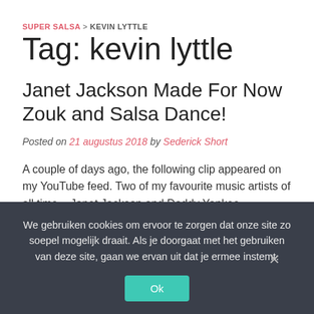SUPER SALSA > KEVIN LYTTLE
Tag: kevin lyttle
Janet Jackson Made For Now Zouk and Salsa Dance!
Posted on 21 augustus 2018 by Sederick Short
A couple of days ago, the following clip appeared on my YouTube feed. Two of my favourite music artists of all time – Janet Jackson and Daddy Yankee – performed together live at The Tonight Show with Jimmy Fallon. Their newest hit: 'Made For Now'!
We gebruiken cookies om ervoor te zorgen dat onze site zo soepel mogelijk draait. Als je doorgaat met het gebruiken van deze site, gaan we ervan uit dat je ermee instemt.